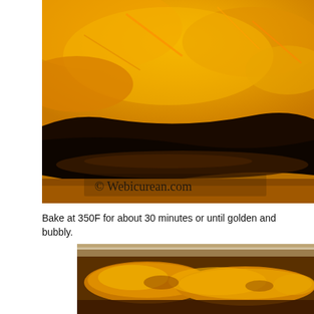[Figure (photo): Close-up photo of baked enchiladas with melted orange cheese on top in a dark blue/black baking dish, with watermark '© Webicurean.com']
Bake at 350F for about 30 minutes or until golden and bubbly.
[Figure (photo): Photo of baked enchiladas with golden cheese topping in a glass baking dish, partially cropped]